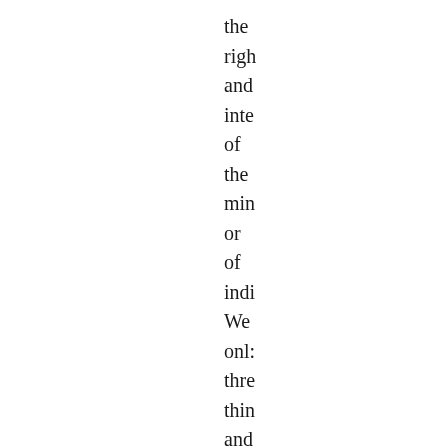the righ and inte of the min or of indi We onl: thre thin and he fou non of the: ver: pov